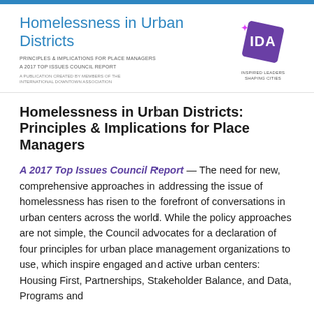Homelessness in Urban Districts
PRINCIPLES & IMPLICATIONS FOR PLACE MANAGERS
A 2017 TOP ISSUES COUNCIL REPORT
A PUBLICATION CREATED BY MEMBERS OF THE INTERNATIONAL DOWNTOWN ASSOCIATION
[Figure (logo): IDA logo - purple diamond shape with IDA text, tagline: INSPIRED LEADERS SHAPING CITIES]
Homelessness in Urban Districts: Principles & Implications for Place Managers
A 2017 Top Issues Council Report — The need for new, comprehensive approaches in addressing the issue of homelessness has risen to the forefront of conversations in urban centers across the world. While the policy approaches are not simple, the Council advocates for a declaration of four principles for urban place management organizations to use, which inspire engaged and active urban centers: Housing First, Partnerships, Stakeholder Balance, and Data, Programs and